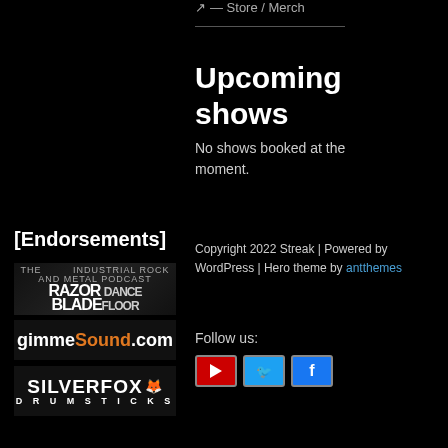— Store / Merch
Upcoming shows
No shows booked at the moment.
[Endorsements]
Copyright 2022 Streak | Powered by WordPress | Hero theme by antthemes
[Figure (logo): The Razor Blade Dance Floor industrial rock and metal podcast logo]
[Figure (logo): gimmesound.com logo with orange sound text]
[Figure (logo): Silverfox Drumsticks logo]
Follow us:
[Figure (other): Social media icons: YouTube, Twitter, Facebook]